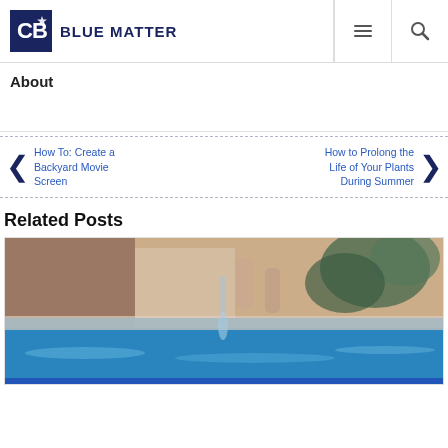BLUE MATTER
About
How To: Create a Backyard Movie Screen
How to Prolong the Life of Your Plants During Summer
Related Posts
[Figure (photo): Blurred outdoor swimming pool with water feature and foliage in the background]